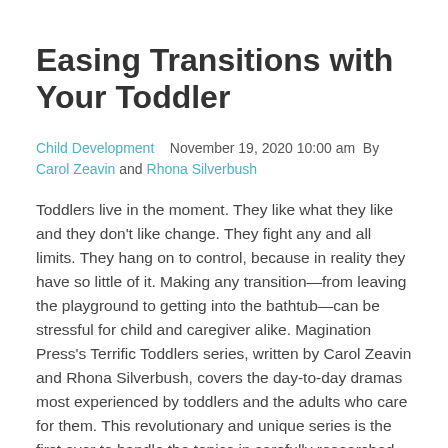Easing Transitions with Your Toddler
Child Development    November 19, 2020 10:00 am  By Carol Zeavin and Rhona Silverbush
Toddlers live in the moment. They like what they like and they don't like change. They fight any and all limits. They hang on to control, because in reality they have so little of it. Making any transition—from leaving the playground to getting into the bathtub—can be stressful for child and caregiver alike. Magination Press's Terrific Toddlers series, written by Carol Zeavin and Rhona Silverbush, covers the day-to-day dramas most experienced by toddlers and the adults who care for them. This revolutionary and unique series is the first ever to handle the topics in carefully researched, developmentally appropriate ways for toddlers. Here's an adapted excerpt from